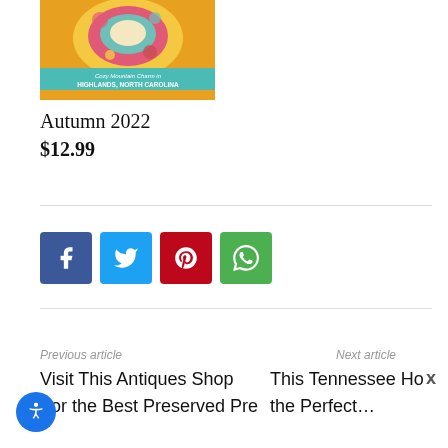[Figure (photo): Book cover showing a table setting with colorful dishes; teal banner text reads 'Cozy Mountain Charm in HIGHLANDS, NORTH CAROLINA']
Autumn 2022
$12.99
[Figure (infographic): Social sharing buttons: Facebook (blue), Twitter (light blue), Pinterest (red), WhatsApp (green)]
Previous article
Next article
Visit This Antiques Shop
This Tennessee Home Ha
x